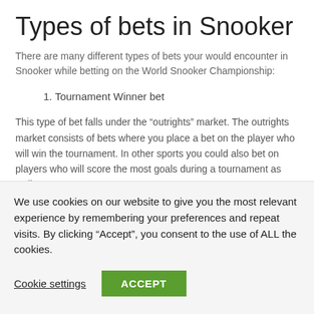Types of bets in Snooker
There are many different types of bets your would encounter in Snooker while betting on the World Snooker Championship:
1. Tournament Winner bet
This type of bet falls under the “outrights” market. The outrights market consists of bets where you place a bet on the player who will win the tournament. In other sports you could also bet on players who will score the most goals during a tournament as well.
We have mentioned the world rankings of the top 10 snooker
We use cookies on our website to give you the most relevant experience by remembering your preferences and repeat visits. By clicking “Accept”, you consent to the use of ALL the cookies.
Cookie settings
ACCEPT